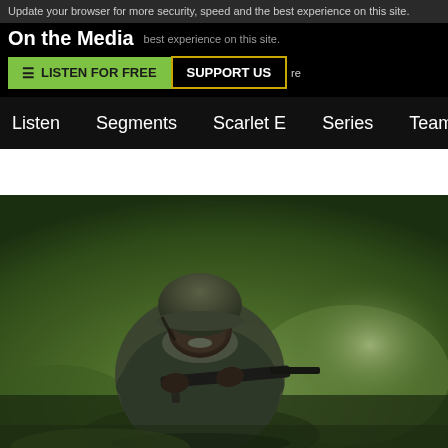Update your browser for more security, speed and the best experience on this site.
On the Media
LISTEN FOR FREE   SUPPORT US
Listen   Segments   Scarlet E   Series   Team
[Figure (photo): A soldier in combat gear and helmet holding a rifle, moving through a green outdoor environment. The background is blurred green foliage.]